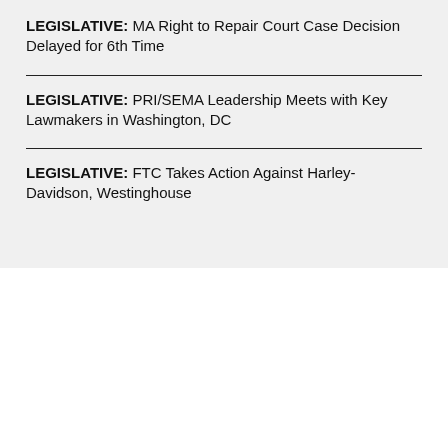LEGISLATIVE: MA Right to Repair Court Case Decision Delayed for 6th Time
LEGISLATIVE: PRI/SEMA Leadership Meets with Key Lawmakers in Washington, DC
LEGISLATIVE: FTC Takes Action Against Harley-Davidson, Westinghouse